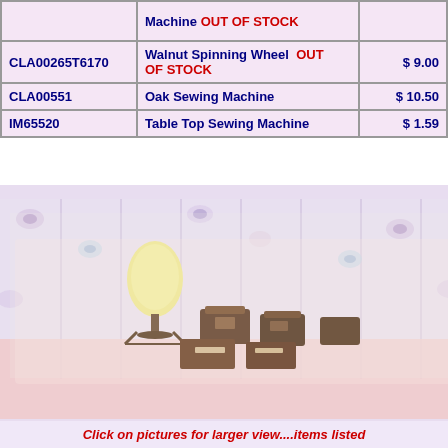| Item Code | Description | Price |
| --- | --- | --- |
|  | Machine OUT OF STOCK |  |
| CLA00265T6170 | Walnut Spinning Wheel  OUT OF STOCK | $ 9.00 |
| CLA00551 | Oak Sewing Machine | $ 10.50 |
| IM65520 | Table Top Sewing Machine | $ 1.59 |
[Figure (photo): Product images showing a dressmaker mannequin, sewing boxes, a sewing basket, and an ironing board, displayed against a floral wallpaper background]
Click on pictures for larger view....items listed